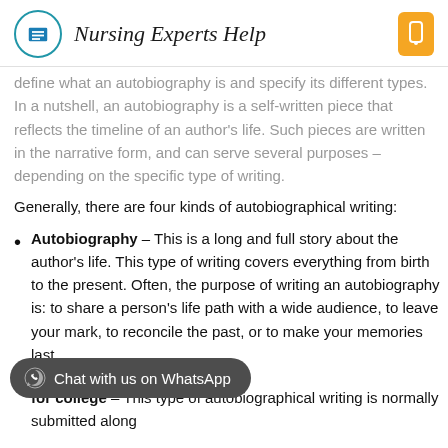Nursing Experts Help
define what an autobiography is and specify its different types. In a nutshell, an autobiography is a self-written piece that reflects the timeline of an author's life. Such pieces are written in the narrative form, and can serve several purposes – depending on the specific type of writing.
Generally, there are four kinds of autobiographical writing:
Autobiography – This is a long and full story about the author's life. This type of writing covers everything from birth to the present. Often, the purpose of writing an autobiography is: to share a person's life path with a wide audience, to leave your mark, to reconcile the past, or to make your memories last.
Autobiography for college – This type of autobiographical writing is normally submitted along